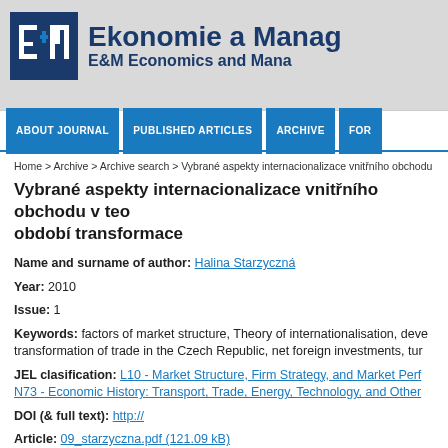[Figure (logo): E&M Ekonomie a Management / E&M Economics and Management journal logo with dark blue E+M cube icon]
ABOUT JOURNAL | PUBLISHED ARTICLES | ARCHIVE | FOR...
Home > Archive > Archive search > Vybrané aspekty internacionalizace vnitřního obchodu v ...
Vybrané aspekty internacionalizace vnitřního obchodu v teo... období transformace
Name and surname of author: Halina Starzyczná
Year: 2010
Issue: 1
Keywords: factors of market structure, Theory of internationalisation, deve... transformation of trade in the Czech Republic, net foreign investments, tur...
JEL clasification: L10 - Market Structure, Firm Strategy, and Market Perf... N73 - Economic History: Transport, Trade, Energy, Technology, and Other ...
DOI (& full text): http://
Article: 09_starzyczna.pdf (121.09 kB)
Links:
Full article in the database ABI / INFORM
Full article in the database Econlit